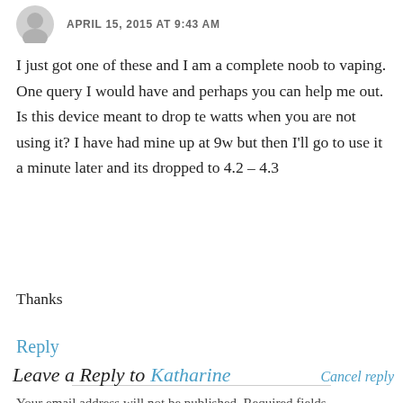APRIL 15, 2015 AT 9:43 AM
I just got one of these and I am a complete noob to vaping. One query I would have and perhaps you can help me out. Is this device meant to drop te watts when you are not using it? I have had mine up at 9w but then I'll go to use it a minute later and its dropped to 4.2 – 4.3
Thanks
Reply
Leave a Reply to Katharine   Cancel reply
Your email address will not be published. Required fields